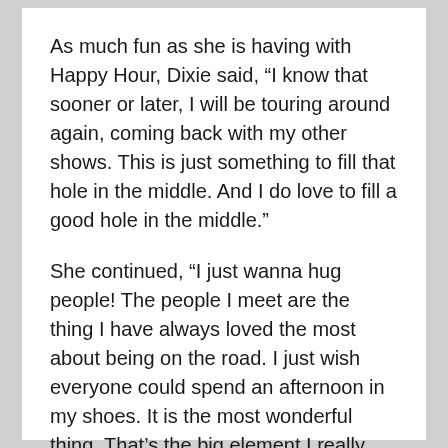As much fun as she is having with Happy Hour, Dixie said, “I know that sooner or later, I will be touring around again, coming back with my other shows. This is just something to fill that hole in the middle. And I do love to fill a good hole in the middle.”
She continued, “I just wanna hug people! The people I meet are the thing I have always loved the most about being on the road. I just wish everyone could spend an afternoon in my shoes. It is the most wonderful thing. That’s the big element I really miss — hugging people and laughing together.”
For now though, touching remains off limits — well, pretty much.